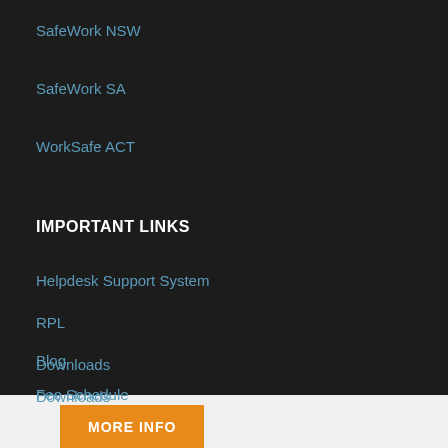SafeWork NSW
SafeWork SA
WorkSafe ACT
IMPORTANT LINKS
Helpdesk Support System
RPL
Blog
Downloads
Fee Schedule
MORE INFO